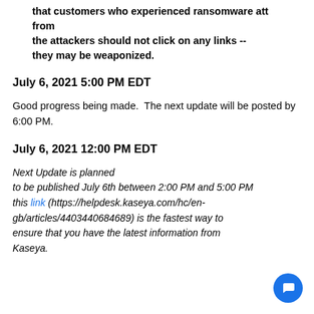that customers who experienced ransomware attacks from the attackers should not click on any links -- they may be weaponized.
July 6, 2021 5:00 PM EDT
Good progress being made.  The next update will be posted by 6:00 PM.
July 6, 2021 12:00 PM EDT
Next Update is planned to be published July 6th between 2:00 PM and 5:00 PM this link (https://helpdesk.kaseya.com/hc/en-gb/articles/4403440684689) is the fastest way to ensure that you have the latest information from Kaseya.